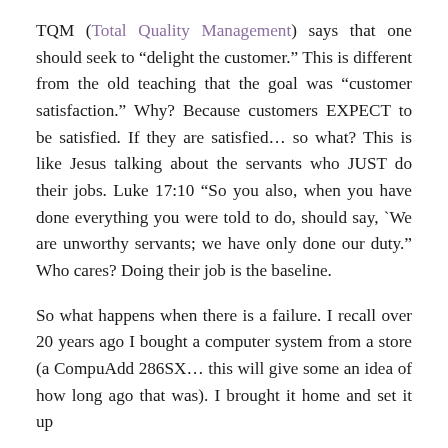TQM (Total Quality Management) says that one should seek to “delight the customer.” This is different from the old teaching that the goal was “customer satisfaction.” Why? Because customers EXPECT to be satisfied. If they are satisfied… so what? This is like Jesus talking about the servants who JUST do their jobs. Luke 17:10 “So you also, when you have done everything you were told to do, should say, `We are unworthy servants; we have only done our duty.” Who cares? Doing their job is the baseline.
So what happens when there is a failure. I recall over 20 years ago I bought a computer system from a store (a CompuAdd 286SX… this will give some an idea of how long ago that was). I brought it home and set it up